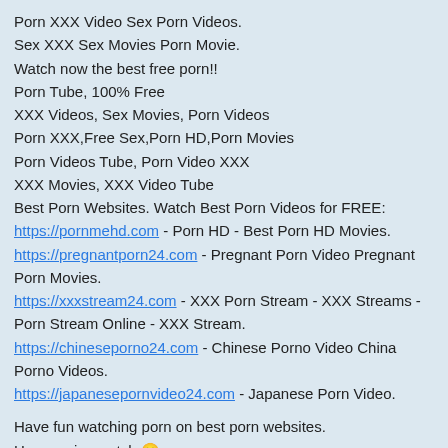Porn XXX Video Sex Porn Videos.
Sex XXX Sex Movies Porn Movie.
Watch now the best free porn!!
Porn Tube, 100% Free
XXX Videos, Sex Movies, Porn Videos
Porn XXX,Free Sex,Porn HD,Porn Movies
Porn Videos Tube, Porn Video XXX
XXX Movies, XXX Video Tube
Best Porn Websites. Watch Best Porn Videos for FREE:
https://pornmehd.com - Porn HD - Best Porn HD Movies.
https://pregnantporn24.com - Pregnant Porn Video Pregnant Porn Movies.
https://xxxstream24.com - XXX Porn Stream - XXX Streams - Porn Stream Online - XXX Stream.
https://chineseporno24.com - Chinese Porno Video China Porno Videos.
https://japanesepornvideo24.com - Japanese Porn Video.
Have fun watching porn on best porn websites.
Have a nice watch 😀
Thank you 😄
XXX Porn Videos XXX Movies c290e78